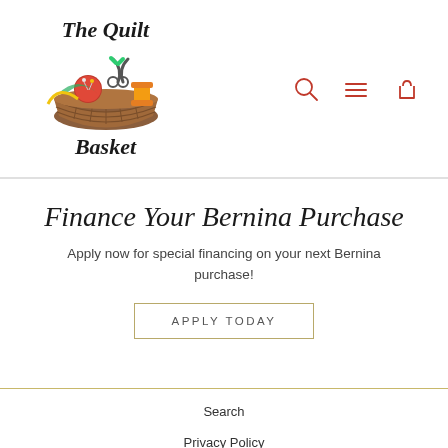[Figure (logo): The Quilt Basket logo: cursive/italic text 'The Quilt Basket' with an illustration of a wicker basket filled with sewing supplies including red pincushion, scissors, thread, and fabric]
Finance Your Bernina Purchase
Apply now for special financing on your next Bernina purchase!
APPLY TODAY
Search
Privacy Policy